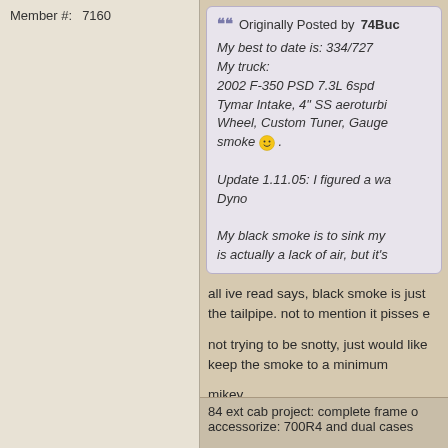Member #:    7160
Originally Posted by 74Buc...
My best to date is: 334/727
My truck:
2002 F-350 PSD 7.3L 6spd
Tymar Intake, 4" SS aeroturbi...
Wheel, Custom Tuner, Gauge...
smoke 🙂 .

Update 1.11.05: I figured a wa...
Dyno

My black smoke is to sink my...
is actually a lack of air, but it's...
all ive read says, black smoke is just...
the tailpipe. not to mention it pisses e...
not trying to be snotty, just would like...
keep the smoke to a minimum
mikey
84 ext cab project: complete frame o...
accessorize: 700R4 and dual cases...